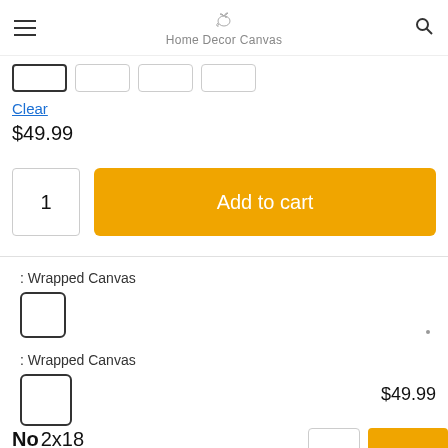Home Decor Canvas
Clear
$49.99
1
Add to cart
: Wrapped Canvas
: Wrapped Canvas
$49.99
No 2x18